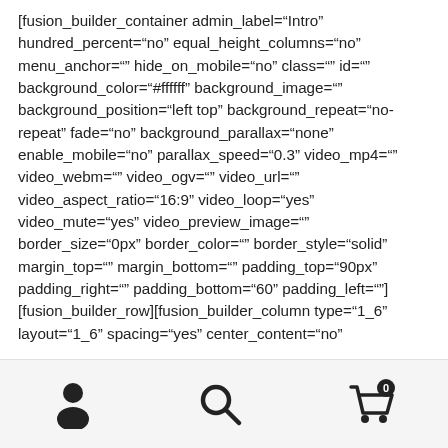[fusion_builder_container admin_label="Intro" hundred_percent="no" equal_height_columns="no" menu_anchor="" hide_on_mobile="no" class="" id="" background_color="#ffffff" background_image="" background_position="left top" background_repeat="no-repeat" fade="no" background_parallax="none" enable_mobile="no" parallax_speed="0.3" video_mp4="" video_webm="" video_ogv="" video_url="" video_aspect_ratio="16:9" video_loop="yes" video_mute="yes" video_preview_image="" border_size="0px" border_color="" border_style="solid" margin_top="" margin_bottom="" padding_top="90px" padding_right="" padding_bottom="60" padding_left=""][fusion_builder_row][fusion_builder_column type="1_6" layout="1_6" spacing="yes" center_content="no"
[Figure (infographic): Bottom navigation bar with three icons: user/account icon (left), search magnifying glass icon (center), shopping cart icon with badge showing '0' (right)]